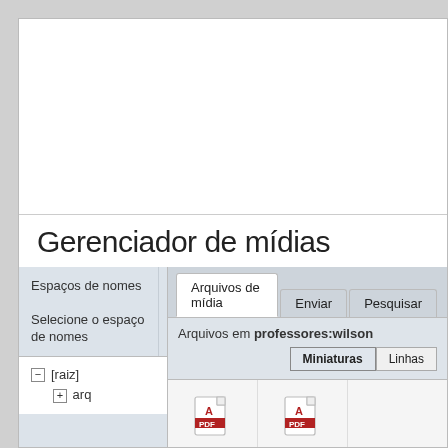Gerenciador de mídias
Espaços de nomes
Selecione o espaço de nomes
− [raiz]
+ arq
Arquivos de mídia
Enviar
Pesquisar
Arquivos em professores:wilson
Miniaturas
Linhas
[Figure (screenshot): PDF file icon in thumbnail view]
[Figure (screenshot): PDF file icon in thumbnail view]